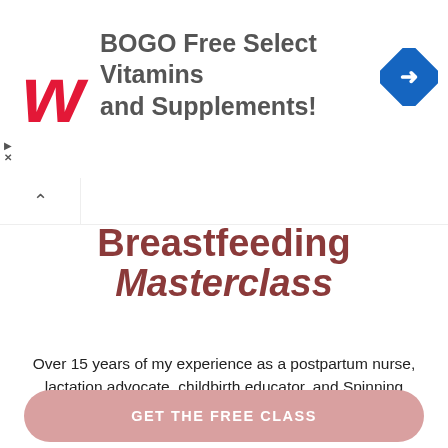[Figure (screenshot): Walgreens advertisement banner: red Walgreens cursive W logo, text 'BOGO Free Select Vitamins and Supplements!', blue navigation diamond icon on right. Play and close (X) controls on far left.]
Breastfeeding Masterclass
Over 15 years of my experience as a postpartum nurse, lactation advocate, childbirth educator, and Spinning Babies® Certified Parent Educator delivered straight to your inbox.
LEARN: how to latch & unlatch correctly, what ruins a good milk supply, troubleshooting tips, PLUS MORE!
Email address
GET THE FREE CLASS